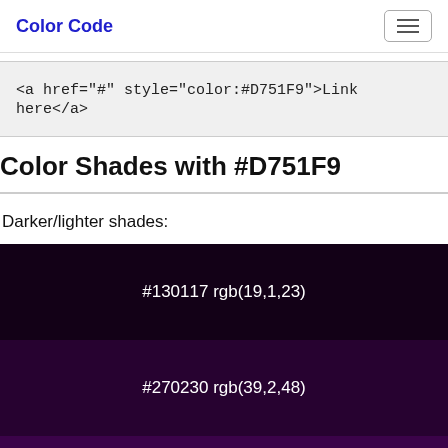Color Code
<a href="#" style="color:#D751F9">Link here</a>
Color Shades with #D751F9
Darker/lighter shades:
#130117 rgb(19,1,23)
#270230 rgb(39,2,48)
#3B0349 rgb(59,3,73)
#500363 rgb(80,3,99)